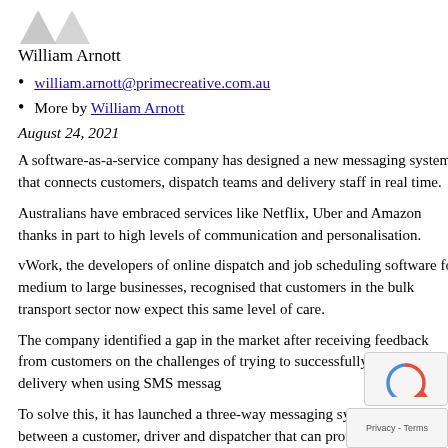[Figure (logo): Two grey triangular logo shapes at the top left]
William Arnott
william.arnott@primecreative.com.au
More by William Arnott
August 24, 2021
A software-as-a-service company has designed a new messaging system that connects customers, dispatch teams and delivery staff in real time.
Australians have embraced services like Netflix, Uber and Amazon thanks in part to high levels of communication and personalisation.
vWork, the developers of online dispatch and job scheduling software for medium to large businesses, recognised that customers in the bulk transport sector now expect this same level of care.
The company identified a gap in the market after receiving feedback from customers on the challenges of trying to successfully manage re-delivery when using SMS messag...
To solve this, it has launched a three-way messaging syste... between a customer, driver and dispatcher that can provide...